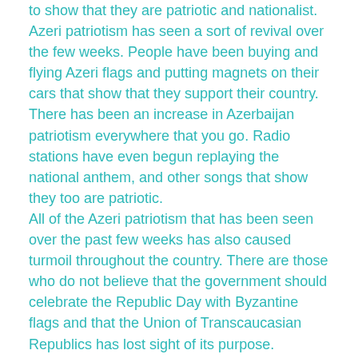to show that they are patriotic and nationalist. Azeri patriotism has seen a sort of revival over the few weeks. People have been buying and flying Azeri flags and putting magnets on their cars that show that they support their country. There has been an increase in Azerbaijan patriotism everywhere that you go. Radio stations have even begun replaying the national anthem, and other songs that show they too are patriotic.
All of the Azeri patriotism that has been seen over the past few weeks has also caused turmoil throughout the country. There are those who do not believe that the government should celebrate the Republic Day with Byzantine flags and that the Union of Transcaucasian Republics has lost sight of its purpose. Amongst the Azeri patriotism revival has also been a political revival. Azeri patriotism now no longer means that you support your country but that you also support the President for Life. This has caused turmoil in many communities as the democrats accept the fact that they may never see another election again.
Despite the turmoil, Azeris continue to show their patriotism and fly their flags. In fact, they continue to buy more symbols that they are patriotic. From signs in their yards to flag magnets on their cars, Azeris are showing that they support their country. People want to be seen as Azeriz despite their religious and